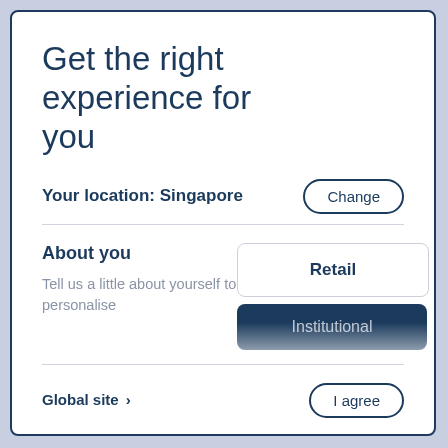Get the right experience for you
Your location: Singapore
Change
About you
Tell us a little about yourself to personalise
Retail
Institutional
Global site >
I agree